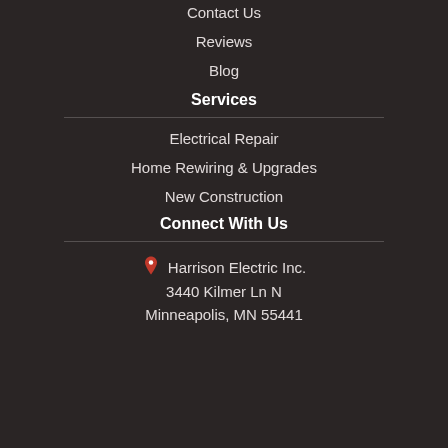Contact Us
Reviews
Blog
Services
Electrical Repair
Home Rewiring & Upgrades
New Construction
Connect With Us
Harrison Electric Inc.
3440 Kilmer Ln N
Minneapolis, MN 55441